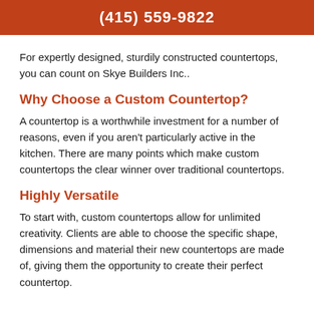(415) 559-9822
For expertly designed, sturdily constructed countertops, you can count on Skye Builders Inc..
Why Choose a Custom Countertop?
A countertop is a worthwhile investment for a number of reasons, even if you aren't particularly active in the kitchen. There are many points which make custom countertops the clear winner over traditional countertops.
Highly Versatile
To start with, custom countertops allow for unlimited creativity. Clients are able to choose the specific shape, dimensions and material their new countertops are made of, giving them the opportunity to create their perfect countertop.